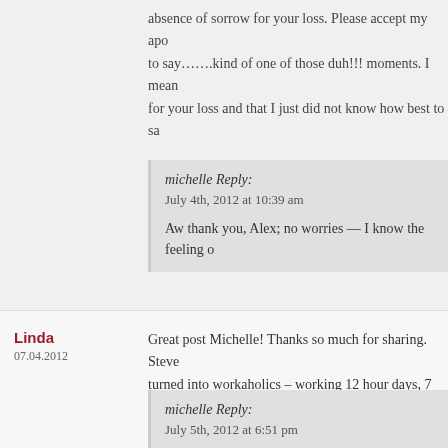absence of sorrow for your loss. Please accept my apo to say…….kind of one of those duh!!! moments. I mean for your loss and that I just did not know how best to sa
michelle Reply:
July 4th, 2012 at 10:39 am

Aw thank you, Alex; no worries — I know the feeling o
Great post Michelle! Thanks so much for sharing. Steve turned into workaholics – working 12 hour days, 7 days children. We're realizing that this isn't really us nor the w too – at least on the weekends! 🙂
Linda
07.04.2012
michelle Reply:
July 5th, 2012 at 6:51 pm